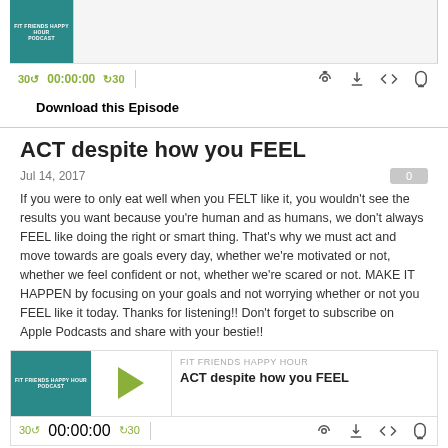[Figure (screenshot): Podcast player widget for Fit Friends Happy Hour podcast showing playback controls: 30s back, 00:00:00 timestamp, 30s forward, and icons for subscribe, download, embed, and share. Thumbnail shows podcast cover art.]
Download this Episode
ACT despite how you FEEL
Jul 14, 2017
If you were to only eat well when you FELT like it, you wouldn't see the results you want because you're human and as humans, we don't always FEEL like doing the right or smart thing. That's why we must act and move towards are goals every day, whether we're motivated or not, whether we feel confident or not, whether we're scared or not. MAKE IT HAPPEN by focusing on your goals and not worrying whether or not you FEEL like it today. Thanks for listening!! Don't forget to subscribe on Apple Podcasts and share with your bestie!!
[Figure (screenshot): Second podcast player widget for episode 'ACT despite how you FEEL' from Fit Friends Happy Hour, showing play button and playback controls.]
Download this Episode